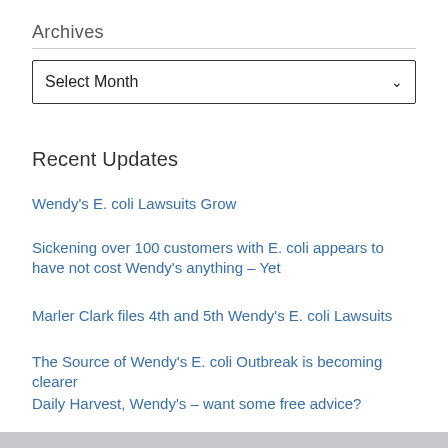Archives
Select Month
Recent Updates
Wendy's E. coli Lawsuits Grow
Sickening over 100 customers with E. coli appears to have not cost Wendy's anything – Yet
Marler Clark files 4th and 5th Wendy's E. coli Lawsuits
The Source of Wendy's E. coli Outbreak is becoming clearer
Daily Harvest, Wendy's – want some free advice?